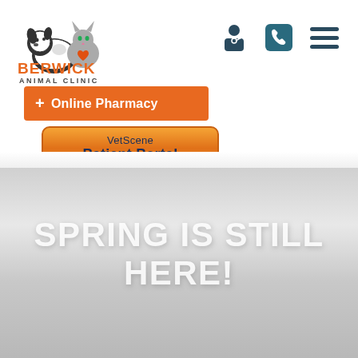[Figure (logo): Berwick Animal Clinic logo: cartoon dog and cat with a heart, orange text BERWICK, smaller text ANIMAL CLINIC below]
[Figure (screenshot): Navigation icons: doctor/person icon, phone icon, hamburger menu icon — top right of header]
+ Online Pharmacy
VetScene Patient Portal
SPRING IS STILL HERE!